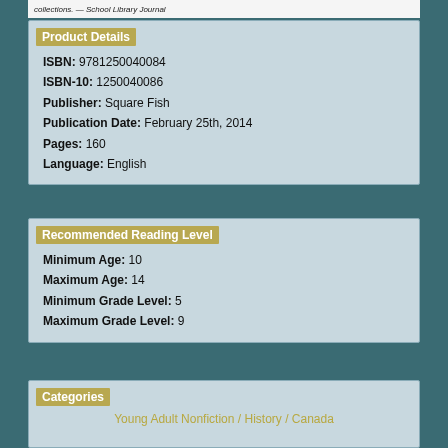collections. — School Library Journal
Product Details
ISBN: 9781250040084
ISBN-10: 1250040086
Publisher: Square Fish
Publication Date: February 25th, 2014
Pages: 160
Language: English
Recommended Reading Level
Minimum Age: 10
Maximum Age: 14
Minimum Grade Level: 5
Maximum Grade Level: 9
Categories
Young Adult Nonfiction / History / Canada